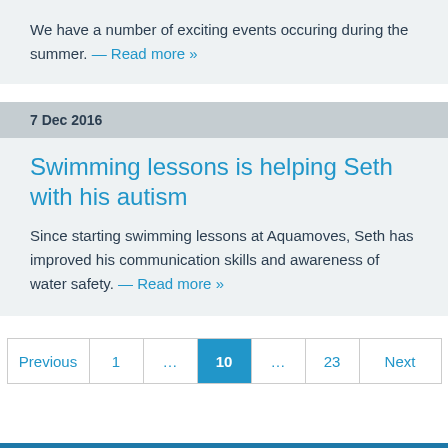We have a number of exciting events occuring during the summer. — Read more »
7 Dec 2016
Swimming lessons is helping Seth with his autism
Since starting swimming lessons at Aquamoves, Seth has improved his communication skills and awareness of water safety. — Read more »
Previous 1 ... 10 ... 23 Next